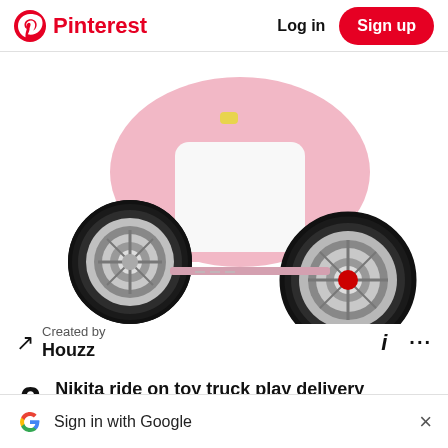Pinterest  Log in  Sign up
[Figure (photo): Close-up photo of a pink toy scooter/moped showing front and rear wheels with chrome hubcaps on a white background]
Created by
Houzz
2  Nikita ride on toy truck play delivery service
Sign in with Google